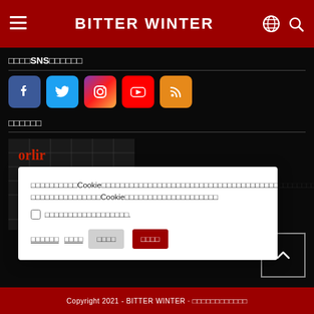BITTER WINTER
□□□□□SNS□□□□□□
[Figure (infographic): Social media icons: Facebook, Twitter, Instagram, YouTube, RSS]
□□□□□□
[Figure (photo): ORLIR logo image with silhouette of people walking with luggage near fence]
Cookie consent dialog with Japanese text, checkbox, and buttons: privacy policy link, terms link, gray settings button, red accept button
Copyright 2021 - BITTER WINTER · □□□□□□□□□□□□